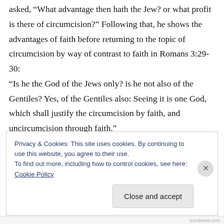asked, “What advantage then hath the Jew? or what profit is there of circumcision?” Following that, he shows the advantages of faith before returning to the topic of circumcision by way of contrast to faith in Romans 3:29-30: “Is he the God of the Jews only? is he not also of the Gentiles? Yes, of the Gentiles also: Seeing it is one God, which shall justify the circumcision by faith, and uncircumcision through faith.”
Privacy & Cookies: This site uses cookies. By continuing to use this website, you agree to their use.
To find out more, including how to control cookies, see here: Cookie Policy
Close and accept